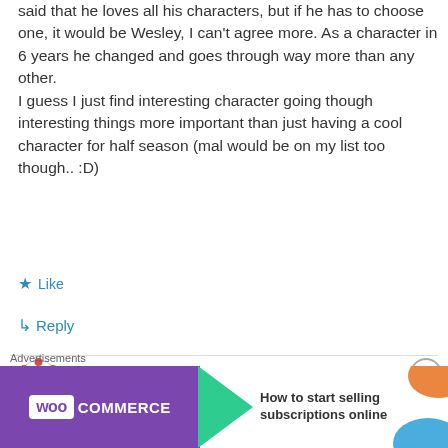said that he loves all his characters, but if he has to choose one, it would be Wesley, I can't agree more. As a character in 6 years he changed and goes through way more than any other. I guess I just find interesting character going though interesting things more important than just having a cool character for half season (mal would be on my list too though.. :D)
★ Like
↳ Reply
Billy on 08/02/2012 at 1:01 am
[Figure (infographic): WooCommerce advertisement banner: purple background with WooCommerce logo and arrow, text 'How to start selling subscriptions online', orange and teal decorative elements]